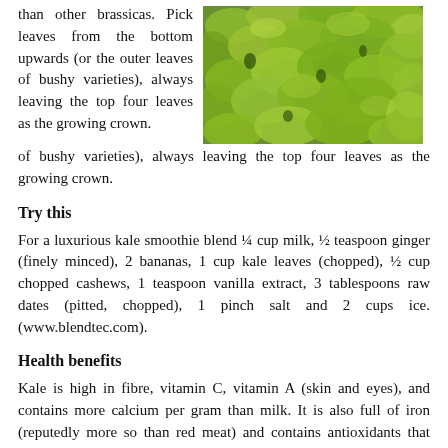than other brassicas. Pick leaves from the bottom upwards (or the outer leaves of bushy varieties), always leaving the top four leaves as the growing crown.
[Figure (photo): Close-up photo of curly green kale leaves]
Try this
For a luxurious kale smoothie blend ¼ cup milk, ½ teaspoon ginger (finely minced), 2 bananas, 1 cup kale leaves (chopped), ½ cup chopped cashews, 1 teaspoon vanilla extract, 3 tablespoons raw dates (pitted, chopped), 1 pinch salt and 2 cups ice. (www.blendtec.com).
Health benefits
Kale is high in fibre, vitamin C, vitamin A (skin and eyes), and contains more calcium per gram than milk. It is also full of iron (reputedly more so than red meat) and contains antioxidants that help prevent